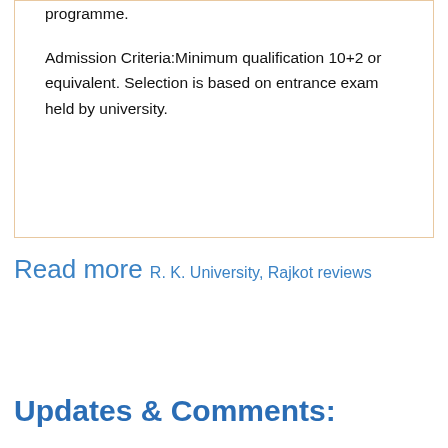programme. Admission Criteria:Minimum qualification 10+2 or equivalent. Selection is based on entrance exam held by university.
Read more R. K. University, Rajkot reviews
Updates & Comments: